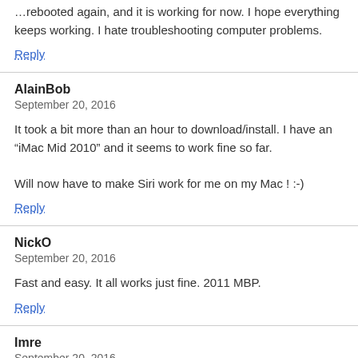…rebooted again, and it is working for now. I hope everything keeps working. I hate troubleshooting computer problems.
Reply
AlainBob
September 20, 2016
It took a bit more than an hour to download/install. I have an “iMac Mid 2010” and it seems to work fine so far.

Will now have to make Siri work for me on my Mac ! :-)
Reply
NickO
September 20, 2016
Fast and easy. It all works just fine. 2011 MBP.
Reply
Imre
September 20, 2016